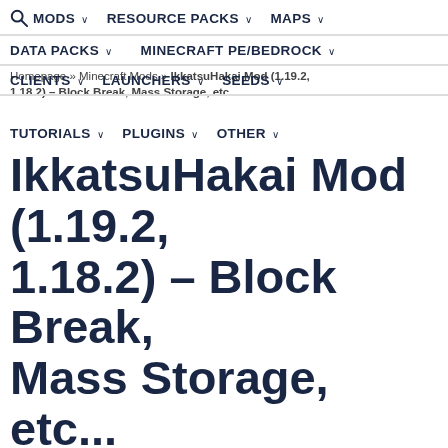🔍 MODS ∨  RESOURCE PACKS ∨  MAPS ∨
DATA PACKS ∨  MINECRAFT PE/BEDROCK ∨
CLIENTS ∨  LAUNCHERS ∨  SEEDS ∨
TUTORIALS ∨  PLUGINS ∨  OTHER ∨
Homepage » Minecraft Mods » IkkatsuHakai Mod (1.19.2, 1.18.2) – Block Break, Mass Storage, etc...
IkkatsuHakai Mod (1.19.2, 1.18.2) – Block Break, Mass Storage, etc...
35,914 views | 2 weeks ago | Author: scalar001 | Mod type: Forge
IkkatsuHakai Mod (1.19.2, 1.18.2) Download Links